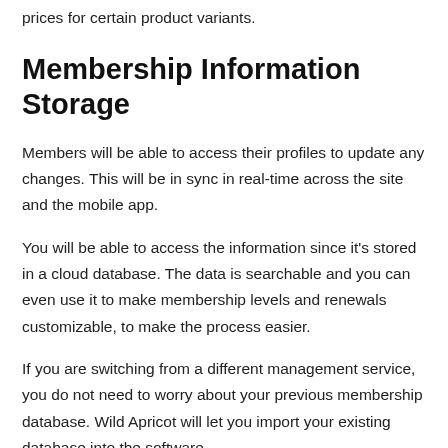prices for certain product variants.
Membership Information Storage
Members will be able to access their profiles to update any changes. This will be in sync in real-time across the site and the mobile app.
You will be able to access the information since it's stored in a cloud database. The data is searchable and you can even use it to make membership levels and renewals customizable, to make the process easier.
If you are switching from a different management service, you do not need to worry about your previous membership database. Wild Apricot will let you import your existing database into the software.
You could also make a member's directory with your database so